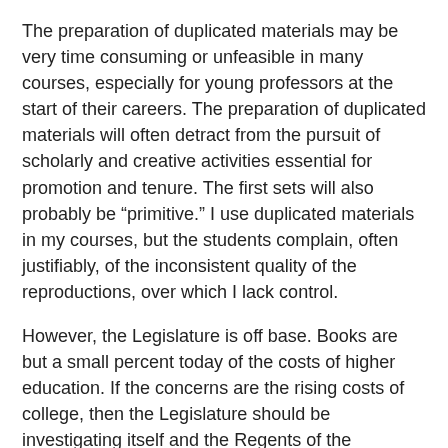The preparation of duplicated materials may be very time consuming or unfeasible in many courses, especially for young professors at the start of their careers. The preparation of duplicated materials will often detract from the pursuit of scholarly and creative activities essential for promotion and tenure. The first sets will also probably be “primitive.” I use duplicated materials in my courses, but the students complain, often justifiably, of the inconsistent quality of the reproductions, over which I lack control.
However, the Legislature is off base. Books are but a small percent today of the costs of higher education. If the concerns are the rising costs of college, then the Legislature should be investigating itself and the Regents of the University of California for driving up the cost of tuition and fees.
By substantially cutting their support for higher education for decades the Legislature has forced the Regents of UC, the Trustees of the Cal State System, and the community colleges to raise tuition.